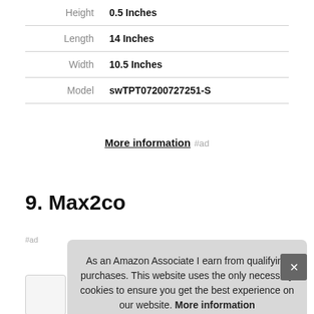| Property | Value |
| --- | --- |
| Height | 0.5 Inches |
| Length | 14 Inches |
| Width | 10.5 Inches |
| Model | swTPT07200727251-S |
More information #ad
9. Max2co
As an Amazon Associate I earn from qualifying purchases. This website uses the only necessary cookies to ensure you get the best experience on our website. More information